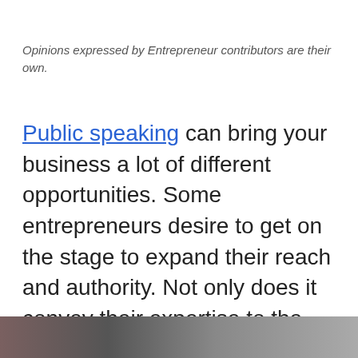Opinions expressed by Entrepreneur contributors are their own.
Public speaking can bring your business a lot of different opportunities. Some entrepreneurs desire to get on the stage to expand their reach and authority. Not only does it convey their expertise to the masses, it gets the word out quickly.
[Figure (photo): Partial image strip visible at the bottom of the page, showing a cropped photograph]